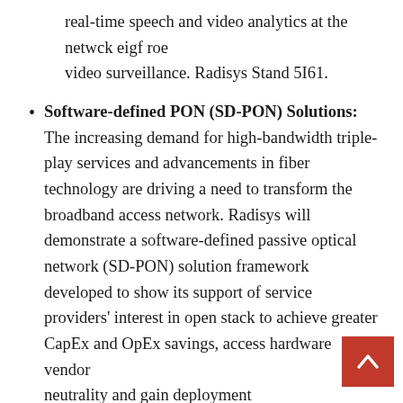real-time speech and video analytics at the network edge for remote video surveillance. Radisys Stand 5I61.
Software-defined PON (SD-PON) Solutions: The increasing demand for high-bandwidth triple-play services and advancements in fiber technology are driving a need to transform the broadband access network. Radisys will demonstrate a software-defined passive optical network (SD-PON) solution framework developed to show its support of service providers' interest in open stack to achieve greater CapEx and OpEx savings, access hardware vendor neutrality and gain deployment